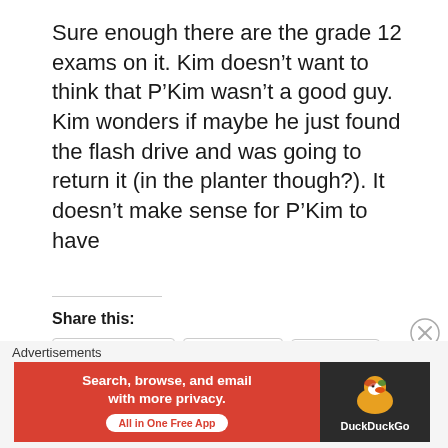Sure enough there are the grade 12 exams on it. Kim doesn’t want to think that P’Kim wasn’t a good guy. Kim wonders if maybe he just found the flash drive and was going to return it (in the planter though?). It doesn’t make sense for P’Kim to have
Share this:
Facebook | Reddit | More
Like this:
Loading...
READ MORE
Advertisements
[Figure (other): DuckDuckGo advertisement banner: 'Search, browse, and email with more privacy. All in One Free App' on red background with DuckDuckGo duck logo on dark background.]